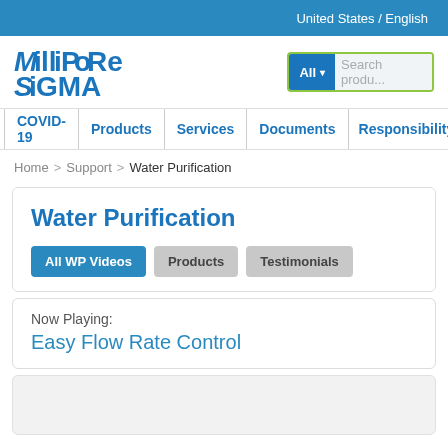United States / English
[Figure (logo): MilliporeSigma logo in blue bold text]
All ▾  Search produ...
COVID-19 | Products | Services | Documents | Responsibility | Su...
Home > Support > Water Purification
Water Purification
All WP Videos  Products  Testimonials
Now Playing:
Easy Flow Rate Control